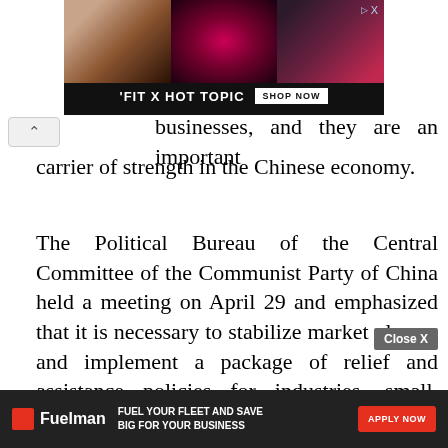[Figure (photo): Advertisement banner for 'FIT X HOT TOPIC' showing three fashion/music themed photos with a 'SHOP NOW' button on dark background]
businesses, and they are an important carrier of strength in the Chinese economy.
The Political Bureau of the Central Committee of the Communist Party of China held a meeting on April 29 and emphasized that it is necessary to stabilize market players and implement a package of relief and assistance policies for industries, small, medium and micro enterprises and individual industrial and commercial households severely affected by the ep
[Figure (other): Fuelman advertisement banner: 'FUEL YOUR FLEET AND SAVE BIG FOR YOUR BUSINESS' with APPLY NOW button]